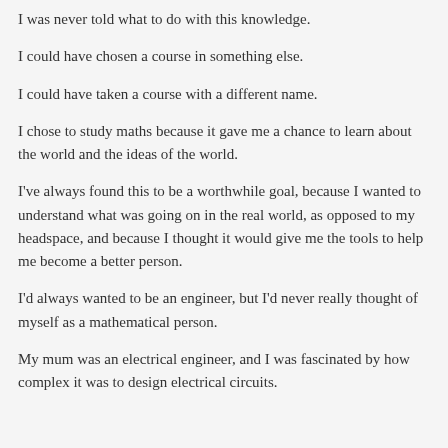I was never told what to do with this knowledge.
I could have chosen a course in something else.
I could have taken a course with a different name.
I chose to study maths because it gave me a chance to learn about the world and the ideas of the world.
I've always found this to be a worthwhile goal, because I wanted to understand what was going on in the real world, as opposed to my headspace, and because I thought it would give me the tools to help me become a better person.
I'd always wanted to be an engineer, but I'd never really thought of myself as a mathematical person.
My mum was an electrical engineer, and I was fascinated by how complex it was to design electrical circuits.